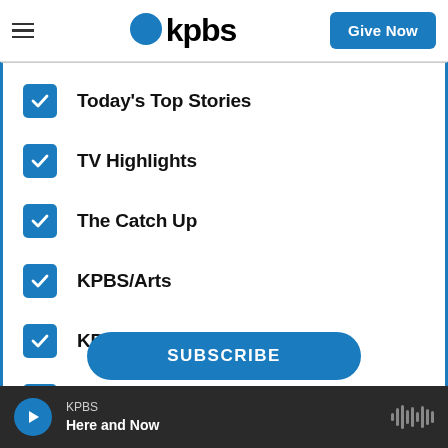KPBS — Give Now
Today's Top Stories
TV Highlights
The Catch Up
KPBS/Arts
KPBS' Most Popular
KPBS Streaming Picks
SUBSCRIBE
KPBS — Here and Now